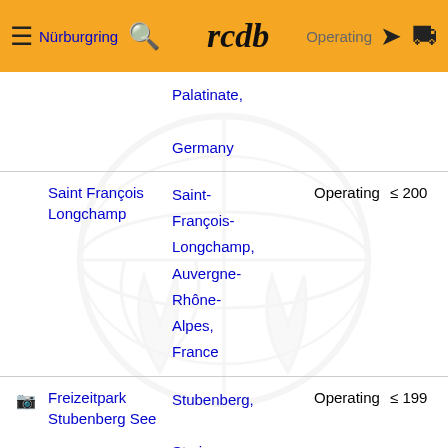Nürburgring | rcdb | Operating
|  | Name | Location | Status | Year |
| --- | --- | --- | --- | --- |
|  |  | Palatinate, Germany |  |  |
|  | Saint François Longchamp | Saint-François-Longchamp, Auvergne-Rhône-Alpes, France | Operating | ≤ 200 |
| 📷 | Freizeitpark Stubenberg See | Stubenberg, Styria, Austria | Operating | ≤ 199 |
|  |  | Kirchen, |  |  |